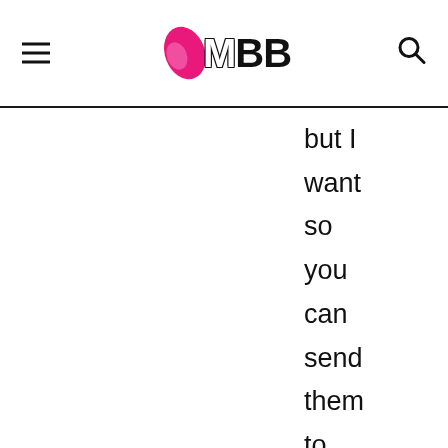IMBB
but I want so you can send them to me when we post something for Jomol and you are